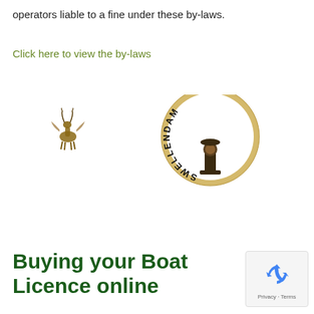operators liable to a fine under these by-laws.
Click here to view the by-laws
[Figure (logo): Springbok animal illustration (small, left) and Swellendam municipality circular logo (right) showing an arch with 'SWELLENDAM' text and a fountain/lamp post emblem]
Buying your Boat Licence online
[Figure (other): Google reCAPTCHA widget showing recycling arrow icon and 'Privacy - Terms' text]